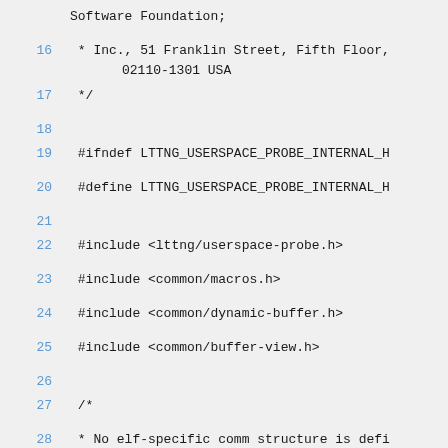Software Foundation;
16    * Inc., 51 Franklin Street, Fifth Floor,
       02110-1301 USA
17    */
18
19    #ifndef LTTNG_USERSPACE_PROBE_INTERNAL_H
20    #define LTTNG_USERSPACE_PROBE_INTERNAL_H
21
22    #include <lttng/userspace-probe.h>
23    #include <common/macros.h>
24    #include <common/dynamic-buffer.h>
25    #include <common/buffer-view.h>
26
27    /*
28    * No elf-specific comm structure is defined. elf-specific payload is
29    * currently needed.